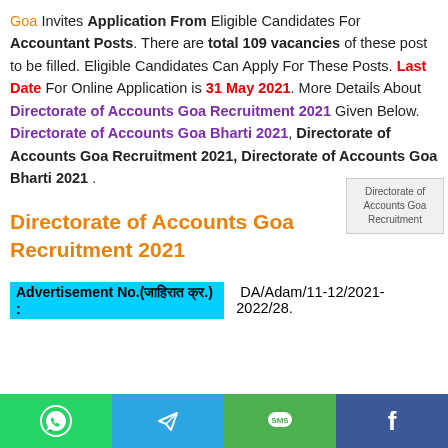Goa Invites Application From Eligible Candidates For Accountant Posts. There are total 109 vacancies of these post to be filled. Eligible Candidates Can Apply For These Posts. Last Date For Online Application is 31 May 2021. More Details About Directorate of Accounts Goa Recruitment 2021 Given Below. Directorate of Accounts Goa Bharti 2021, Directorate of Accounts Goa Recruitment 2021, Directorate of Accounts Goa Bharti 2021 .
[Figure (photo): Directorate of Accounts Goa Recruitment image placeholder]
Directorate of Accounts Goa Recruitment 2021
Advertisement No.(जाहिरात क्र.) : DA/Adam/11-12/2021-2022/28.